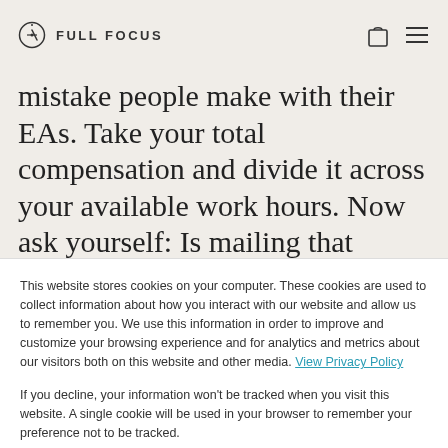FULL FOCUS
mistake people make with their EAs. Take your total compensation and divide it across your available work hours. Now ask yourself: Is mailing that
This website stores cookies on your computer. These cookies are used to collect information about how you interact with our website and allow us to remember you. We use this information in order to improve and customize your browsing experience and for analytics and metrics about our visitors both on this website and other media. View Privacy Policy
If you decline, your information won't be tracked when you visit this website. A single cookie will be used in your browser to remember your preference not to be tracked.